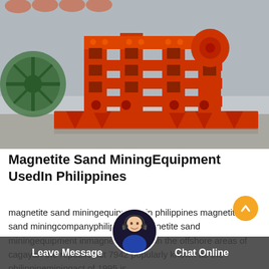[Figure (photo): Large red industrial mining/crushing machine (roller crusher or double-roller crusher) painted bright orange-red, photographed outdoors at an industrial facility. The machine has a heavy steel frame with rollers, flanges, and triangular support structures at the base.]
Magnetite Sand MiningEquipment UsedIn Philippines
magnetite sand miningequipmentsin philippines magnetite sand miningcompanyphilippines magnetite sand miningequipment inmagnetite miningin the offshore areas of cagayan the republic act 7942 popularly known as the philippineminingact of 1995 is ...